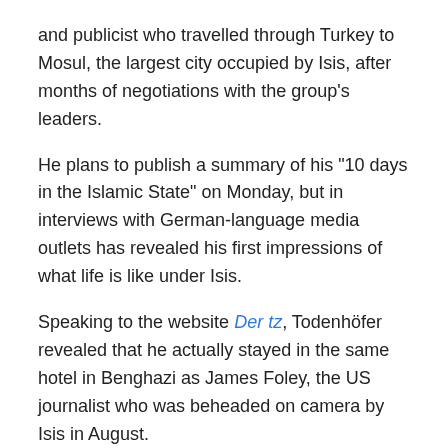and publicist who travelled through Turkey to Mosul, the largest city occupied by Isis, after months of negotiations with the group’s leaders.
He plans to publish a summary of his “10 days in the Islamic State” on Monday, but in interviews with German-language media outlets has revealed his first impressions of what life is like under Isis.
Speaking to the website Der tz, Todenhöfer revealed that he actually stayed in the same hotel in Benghazi as James Foley, the US journalist who was beheaded on camera by Isis in August.
“Of course, I’ve seen the terrible, brutal video and it was one of my main concerns during the negotiations as to how I can avoid [the same fate],” he said.